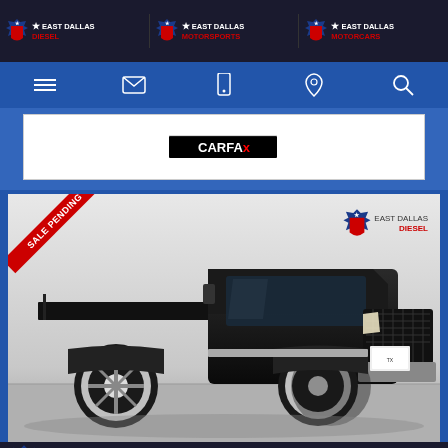East Dallas Diesel | East Dallas Motorsports | East Dallas Motorcars
[Figure (screenshot): Navigation bar with hamburger menu, email, phone, location, and search icons on blue background]
[Figure (logo): CARFAX logo on white background]
[Figure (photo): Black RAM flatbed truck with 'Sale Pending' diagonal banner in top-left corner, East Dallas Diesel watermark in top-right, photographed in dealership showroom]
EASTDALLASDIESEL.COM   972-807-6316